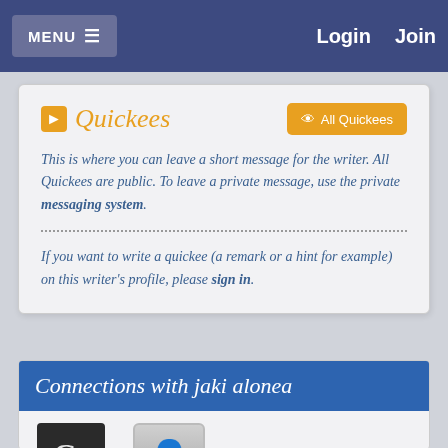MENU  Login  Join
Quickees
This is where you can leave a short message for the writer. All Quickees are public. To leave a private message, use the private messaging system.
If you want to write a quickee (a remark or a hint for example) on this writer's profile, please sign in.
Connections with jaki alonea
[Figure (other): Two avatar icons: one dark with 'GD' text, one light with a person silhouette]